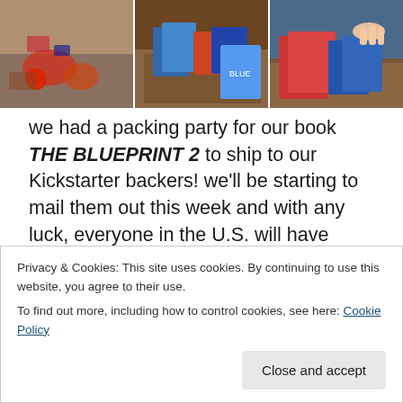[Figure (photo): Three photos side by side showing a packing party: left photo shows merchandise/pins on a surface, middle photo shows books on a table, right photo shows people handling books.]
we had a packing party for our book THE BLUEPRINT 2 to ship to our Kickstarter backers! we'll be starting to mail them out this week and with any luck, everyone in the U.S. will have them by February! international orders always take longer but fingers crossed they'll get to their destinations in February as well. thanks to everyone who supported the project and also for their incredible patience as we were waiting to get the books and swag in
Privacy & Cookies: This site uses cookies. By continuing to use this website, you agree to their use.
To find out more, including how to control cookies, see here: Cookie Policy
Close and accept